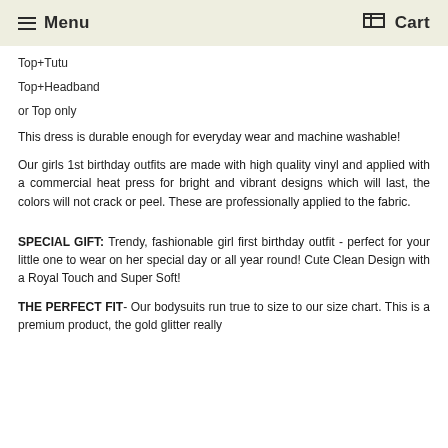Menu   Cart
Top+Tutu
Top+Headband
or Top only
This dress is durable enough for everyday wear and machine washable!
Our girls 1st birthday outfits are made with high quality vinyl and applied with a commercial heat press for bright and vibrant designs which will last, the colors will not crack or peel. These are professionally applied to the fabric.
SPECIAL GIFT: Trendy, fashionable girl first birthday outfit - perfect for your little one to wear on her special day or all year round! Cute Clean Design with a Royal Touch and Super Soft!
THE PERFECT FIT- Our bodysuits run true to size to our size chart. This is a premium product, the gold glitter really